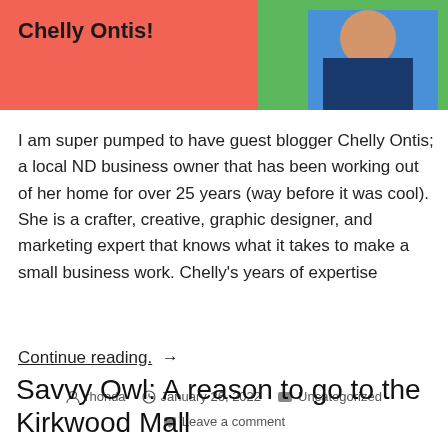[Figure (photo): Banner with salmon/coral background color. Bold text 'Chelly Ontis!' on the left side. Photo of a person on the right side with green and blue clothing.]
I am super pumped to have guest blogger Chelly Ontis; a local ND business owner that has been working out of her home for over 25 years (way before it was cool). She is a crafter, creative, graphic designer, and marketing expert that knows what it takes to make a small business work. Chelly's years of expertise
Continue reading. →
rhonda   January 26, 2022   Uncategorized   Leave a comment
Savvy Owl: A reason to go to the Kirkwood Mall